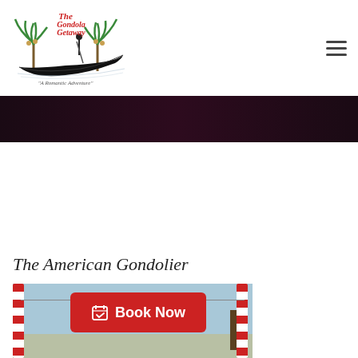[Figure (logo): The Gondola Getaway logo with palm trees, gondola, and tagline 'A Romantic Adventure']
[Figure (other): Dark maroon/burgundy gradient banner strip]
The American Gondolier
[Figure (photo): Photo of striped red and white gondola poles with blue sky and palm trees in background, with a red 'Book Now' button overlay]
[Figure (other): Red Book Now button with calendar checkmark icon]